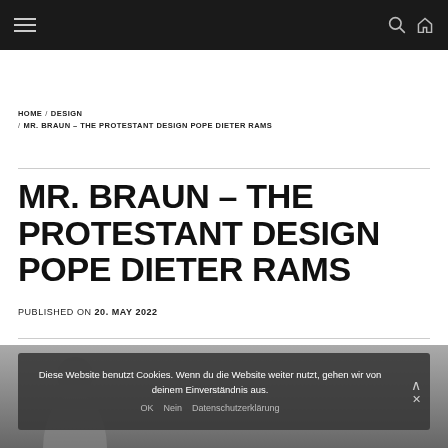Navigation header with hamburger menu, search icon, and home icon on dark background
HOME / DESIGN / MR. BRAUN – THE PROTESTANT DESIGN POPE DIETER RAMS
MR. BRAUN – THE PROTESTANT DESIGN POPE DIETER RAMS
PUBLISHED ON 20. MAY 2022
[Figure (photo): Partially visible photograph of a person, overlaid with a cookie consent banner]
Diese Website benutzt Cookies. Wenn du die Website weiter nutzt, gehen wir von deinem Einverständnis aus. OK Nein Datenschutzerklärung